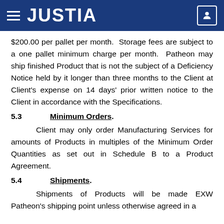JUSTIA
$200.00 per pallet per month. Storage fees are subject to a one pallet minimum charge per month. Patheon may ship finished Product that is not the subject of a Deficiency Notice held by it longer than three months to the Client at Client's expense on 14 days' prior written notice to the Client in accordance with the Specifications.
5.3 Minimum Orders.
Client may only order Manufacturing Services for amounts of Products in multiples of the Minimum Order Quantities as set out in Schedule B to a Product Agreement.
5.4 Shipments.
Shipments of Products will be made EXW Patheon's shipping point unless otherwise agreed in a